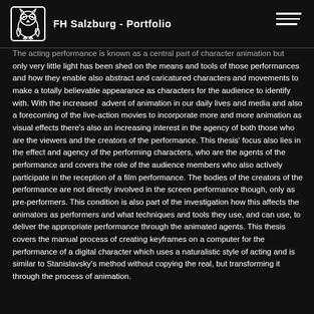FH Salzburg - Portfolio
The acting performance is known as a central part of character animation but only very little light has been shed on the means and tools of those performances and how they enable also abstract and caricatured characters and movements to make a totally believable appearance as characters for the audience to identify with. With the increased advent of animation in our daily lives and media and also a forecoming of the live-action movies to incorporate more and more animation as visual effects there's also an increasing interest in the agency of both those who are the viewers and the creators of the performance. This thesis' focus also lies in the effect and agency of the performing characters, who are the agents of the performance and covers the role of the audience members who also actively participate in the reception of a film performance. The bodies of the creators of the performance are not directly involved in the screen performance though, only as pre-performers. This condition is also part of the investigation how this affects the animators as performers and what techniques and tools they use, and can use, to deliver the appropriate performance through the animated agents. This thesis covers the manual process of creating keyframes on a computer for the performance of a digital character which uses a naturalistic style of acting and is similar to Stanislavsky's method without copying the real, but transforming it through the process of animation.